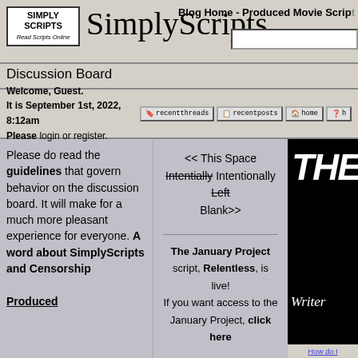Blog Home - Produced Movie Scripts
SimplyScripts
Discussion Board
Welcome, Guest. It is September 1st, 2022, 8:12am Please login or register.
Please do read the guidelines that govern behavior on the discussion board. It will make for a much more pleasant experience for everyone. A word about SimplyScripts and Censorship
< < This Space Intentially Intentionally Left Blank> >
The January Project script, Relentless, is live! If you want access to the January Project, click here
Produced
[Figure (screenshot): Black movie poster image showing 'THE' in large white letters and 'Writers' in italic white text below]